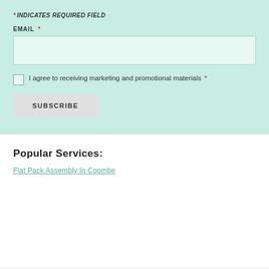* INDICATES REQUIRED FIELD
EMAIL *
I agree to receiving marketing and promotional materials *
SUBSCRIBE
Popular Services:
Flat Pack Assembly In Coombe